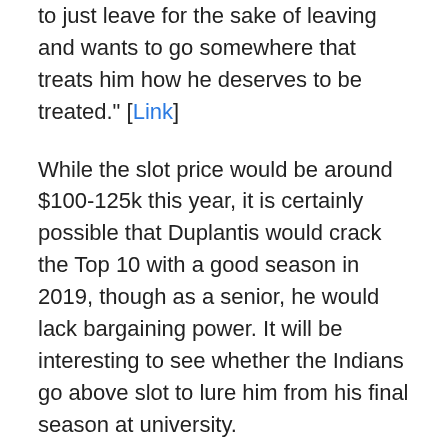to just leave for the sake of leaving and wants to go somewhere that treats him how he deserves to be treated." [Link]
While the slot price would be around $100-125k this year, it is certainly possible that Duplantis would crack the Top 10 with a good season in 2019, though as a senior, he would lack bargaining power. It will be interesting to see whether the Indians go above slot to lure him from his final season at university.
The second European taken was Aldrich de Jongh (hat tip to Mister Baseball), who was taken two rounds prior to Duplantis by the Los Angeles Dodgers. The Dutch national team member was the 524th pick out of Hillsborough Community College (Fla.), which also features French national teamer Nolan Soliveres. Rated No. 348